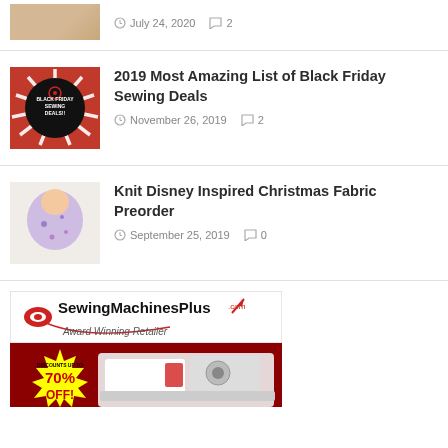[Figure (photo): Partial top stub showing a thumbnail and date July 24, 2020 with 2 comments]
July 24, 2020   2
[Figure (photo): Black Friday Sewing Deals promotional image with starburst red and white design]
2019 Most Amazing List of Black Friday Sewing Deals
November 26, 2019   2
[Figure (photo): Baby in floral Disney-print onesie lying on white background]
Knit Disney Inspired Christmas Fabric Preorder
September 25, 2019   0
[Figure (photo): SewingMachinesPlus.com advertisement banner showing Award Winning Retailer logo, sewing machine, and DISCOUNTS UP TO 70% OFF starburst badge]